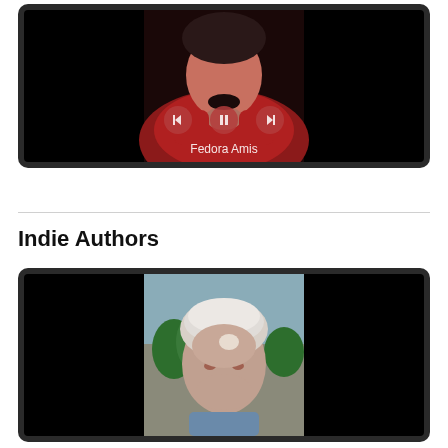[Figure (screenshot): Video player showing woman in red jacket named Fedora Amis with playback controls (previous, pause, next)]
Indie Authors
[Figure (screenshot): Video player showing elderly man with grey hair outdoors]